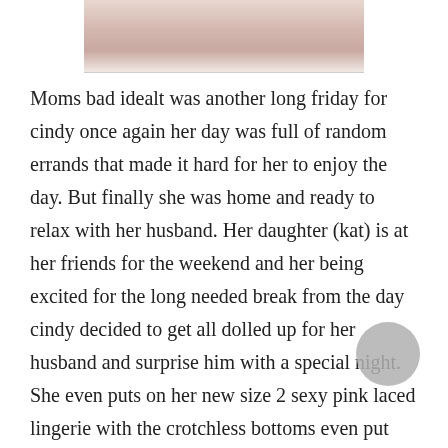[Figure (photo): Partial image of a person at the top of the page, cropped, showing skin and possibly hair/fur textures with pink/white tones.]
Moms bad idealt was another long friday for cindy once again her day was full of random errands that made it hard for her to enjoy the day. But finally she was home and ready to relax with her husband. Her daughter (kat) is at her friends for the weekend and her being excited for the long needed break from the day cindy decided to get all dolled up for her husband and surprise him with a special night. She even puts on her new size 2 sexy pink laced lingerie with the crotchless bottoms even put the silk sheets on the bed. She set the mood for a perfect night and as she was close to finishing getting ready for her husband she calls him and tells him shes home and dinner's ready to see when he will be home. Well it turns out he's not gonna be home until the next day cause he has a meeting. As disappointed as cindy was she was kinda used to this he often worked late and over nights. Well cindy just put